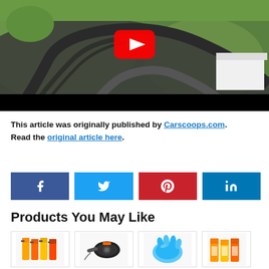[Figure (screenshot): Aerial view of a motorsport track with green grass, dark asphalt surface and tire marks, with a white building and YouTube play button overlay. Black bar at bottom of video frame.]
This article was originally published by Carscoops.com. Read the original article here.
[Figure (infographic): Social share buttons: Facebook (dark blue), Twitter (light blue), Pinterest (red), LinkedIn (blue)]
Products You May Like
[Figure (photo): Four product images in cards: cleaning spray bottles, car vacuum/inflator, blue cleaning putty/slime, and car care product bottles.]